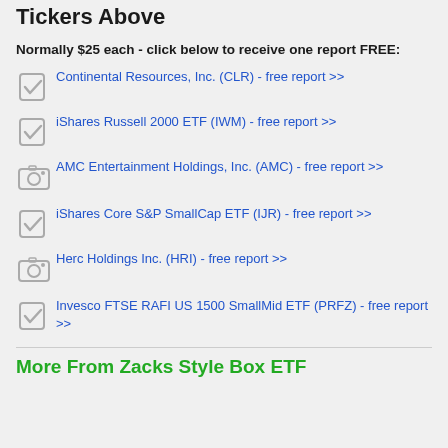Tickers Above
Normally $25 each - click below to receive one report FREE:
Continental Resources, Inc. (CLR) - free report >>
iShares Russell 2000 ETF (IWM) - free report >>
AMC Entertainment Holdings, Inc. (AMC) - free report >>
iShares Core S&P SmallCap ETF (IJR) - free report >>
Herc Holdings Inc. (HRI) - free report >>
Invesco FTSE RAFI US 1500 SmallMid ETF (PRFZ) - free report >>
More From Zacks Style Box ETF